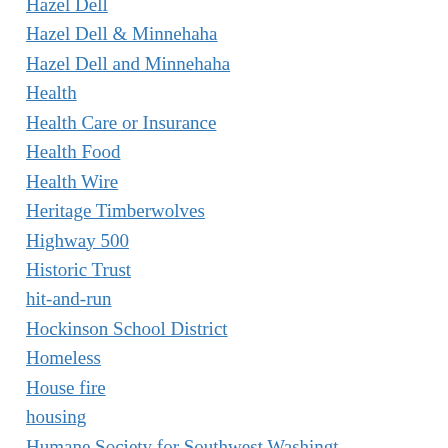Hazel Dell
Hazel Dell & Minnehaha
Hazel Dell and Minnehaha
Health
Health Care or Insurance
Health Food
Health Wire
Heritage Timberwolves
Highway 500
Historic Trust
hit-and-run
Hockinson School District
Homeless
House fire
housing
Humane Society for Southwest Washington